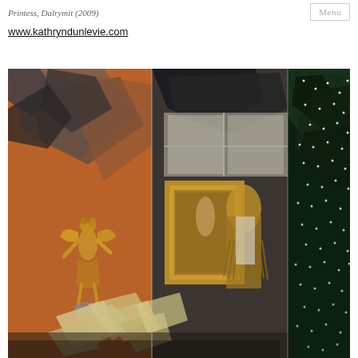Printess, Dalrymit (2009)
Menu
www.kathryndunlevie.com
[Figure (photo): A museum or gallery window display showing a golden figurine/statue on the left, a mannequin wearing a brown fringed jacket in the center, geometric origami-like paper shapes on the floor, and a large green star with white lights on the right side. The scene is reflected in glass.]